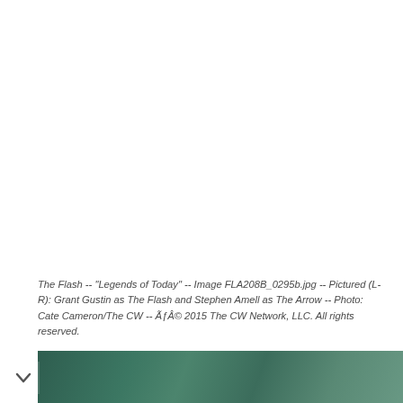The Flash -- "Legends of Today" -- Image FLA208B_0295b.jpg -- Pictured (L-R): Grant Gustin as The Flash and Stephen Amell as The Arrow -- Photo: Cate Cameron/The CW -- ÃƒÂ© 2015 The CW Network, LLC. All rights reserved.
- Advertisement -
[Figure (photo): Partial view of a person in a dark costume, appearing to be from The Flash or Arrow TV show, cropped at bottom of page]